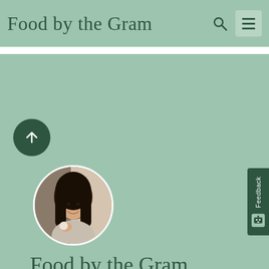Food by the Gram
[Figure (photo): Profile photo of a young woman with long dark hair, holding a small round food item, smiling, in a kitchen setting. Shown in a circular crop.]
Food by the Gram
[Figure (logo): Three social media icon circles: Instagram (black), Pinterest (red), Facebook (blue)]